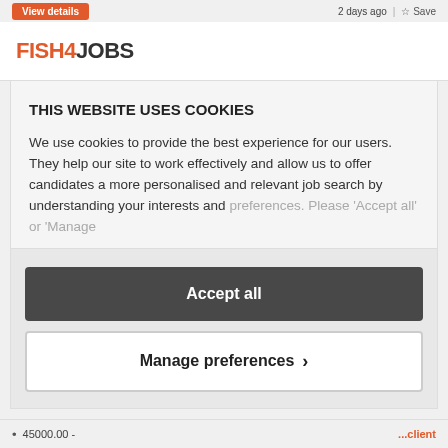View details   2 days ago | Save
[Figure (logo): FISH4JOBS logo in orange and dark grey text]
THIS WEBSITE USES COOKIES
We use cookies to provide the best experience for our users. They help our site to work effectively and allow us to offer candidates a more personalised and relevant job search by understanding your interests and preferences. Please 'Accept all' or 'Manage
Accept all
Manage preferences >
45000.00 -   ...client